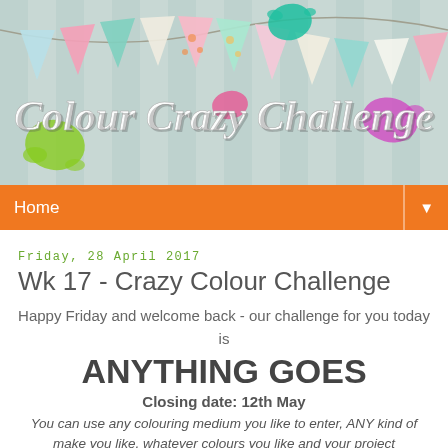[Figure (illustration): Colour Crazy Challenge banner with bunting flags, paint splashes in pink, teal, green, and purple on a light teal striped background. Text reads 'Colour Crazy Challenge' in white script.]
Home ▼
Friday, 28 April 2017
Wk 17 - Crazy Colour Challenge
Happy Friday and welcome back - our challenge for you today is
ANYTHING GOES
Closing date: 12th May
You can use any colouring medium you like to enter, ANY kind of make you like, whatever colours you like and your project